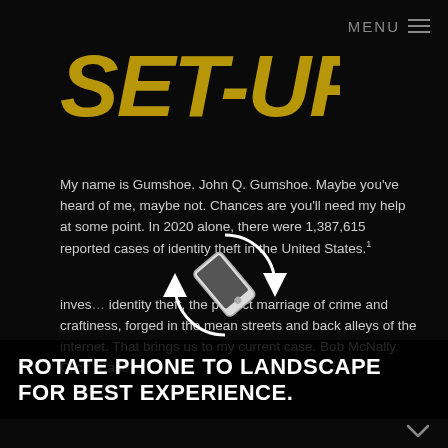MENU ≡
SET-UP
My name is Gumshoe. John Q. Gumshoe. Maybe you've heard of me, maybe not. Chances are you'll need my help at some point. In 2020 alone, there were 1,387,615 reported cases of identity theft in the United States.¹
[Figure (illustration): Rotating phone icon with circular arrows indicating screen rotation]
ROTATE PHONE TO LANDSCAPE FOR BEST EXPERIENCE.
inves… identity theft, the perfect marriage of crime and craftiness, forged in the mean streets and back alleys of the internet. That brings us to my current case. Bob McNally. Click "Case…